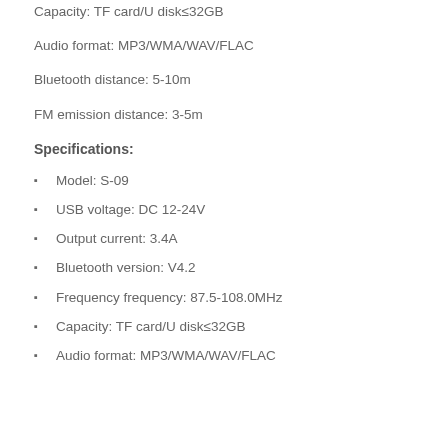Capacity: TF card/U disk≤32GB
Audio format: MP3/WMA/WAV/FLAC
Bluetooth distance: 5-10m
FM emission distance: 3-5m
Specifications:
Model: S-09
USB voltage: DC 12-24V
Output current: 3.4A
Bluetooth version: V4.2
Frequency frequency: 87.5-108.0MHz
Capacity: TF card/U disk≤32GB
Audio format: MP3/WMA/WAV/FLAC